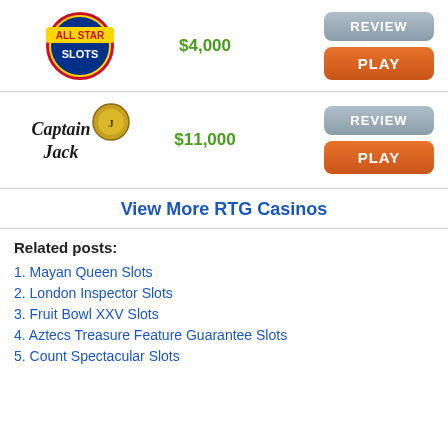[Figure (logo): All Star Slots casino logo - red/blue circular badge with stars]
$4,000
[Figure (other): REVIEW button - gray rounded rectangle]
[Figure (other): PLAY button - orange rounded rectangle]
[Figure (logo): Captain Jack casino logo - text with compass/coin graphic]
$11,000
[Figure (other): REVIEW button - gray rounded rectangle]
[Figure (other): PLAY button - orange rounded rectangle]
View More RTG Casinos
Related posts:
1. Mayan Queen Slots
2. London Inspector Slots
3. Fruit Bowl XXV Slots
4. Aztecs Treasure Feature Guarantee Slots
5. Count Spectacular Slots